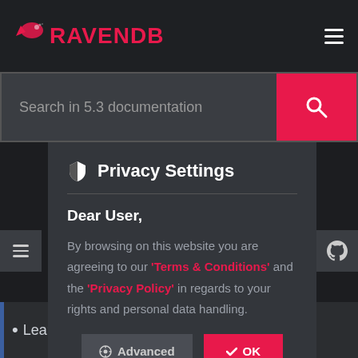RAVENDB
Search in 5.3 documentation
Privacy Settings
Dear User,
By browsing on this website you are agreeing to our 'Terms & Conditions' and the 'Privacy Policy' in regards to your rights and personal data handling.
Learn more about revisions here and